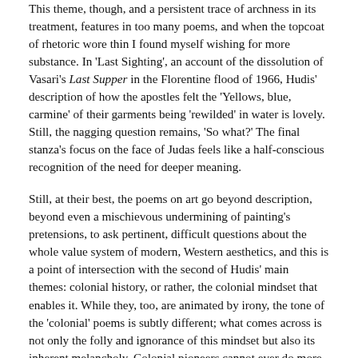This theme, though, and a persistent trace of archness in its treatment, features in too many poems, and when the topcoat of rhetoric wore thin I found myself wishing for more substance. In 'Last Sighting', an account of the dissolution of Vasari's Last Supper in the Florentine flood of 1966, Hudis' description of how the apostles felt the 'Yellows, blue, carmine' of their garments being 'rewilded' in water is lovely. Still, the nagging question remains, 'So what?' The final stanza's focus on the face of Judas feels like a half-conscious recognition of the need for deeper meaning.
Still, at their best, the poems on art go beyond description, beyond even a mischievous undermining of painting's pretensions, to ask pertinent, difficult questions about the whole value system of modern, Western aesthetics, and this is a point of intersection with the second of Hudis' main themes: colonial history, or rather, the colonial mindset that enables it. While they, too, are animated by irony, the tone of the 'colonial' poems is subtly different; what comes across is not only the folly and ignorance of this mindset but also its inherent melancholy. Colonial pioneers cannot ever do more than scratch the surface and lacquer artificial meanings onto places and ways of life that they have neither the wish nor the capacity to truly understand. Yes, it is horrendous, but it is also pitiable, in the way that the colonisers in Jean Rhys' stories also are. The aura of pessimism, even sadness, implicit in these poems, adds welcome depth.
The painter's mixing of ingredients, which so intrigues Hudis, is